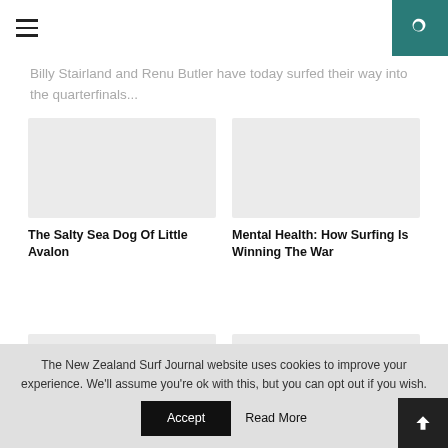Navigation header with hamburger menu and search button
Billy Stairland and Renu Butler have today surfed their way into the quarterfinals...
[Figure (photo): Article thumbnail image placeholder - The Salty Sea Dog Of Little Avalon]
The Salty Sea Dog Of Little Avalon
[Figure (photo): Article thumbnail image placeholder - Mental Health: How Surfing Is Winning The War]
Mental Health: How Surfing Is Winning The War
[Figure (photo): Article thumbnail image placeholder - lower left]
[Figure (photo): Article thumbnail image placeholder - lower right]
The New Zealand Surf Journal website uses cookies to improve your experience. We'll assume you're ok with this, but you can opt out if you wish.
Accept
Read More